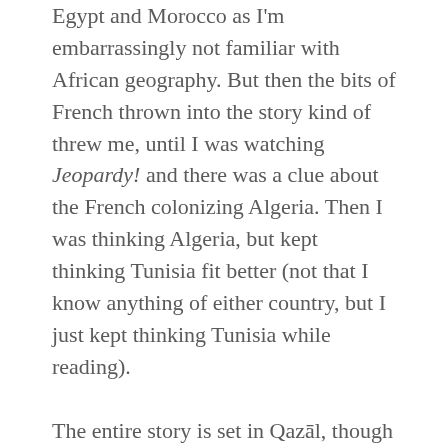Egypt and Morocco as I'm embarrassingly not familiar with African geography. But then the bits of French thrown into the story kind of threw me, until I was watching Jeopardy! and there was a clue about the French colonizing Algeria. Then I was thinking Algeria, but kept thinking Tunisia fit better (not that I know anything of either country, but I just kept thinking Tunisia while reading).
The entire story is set in Qazāl, though both Touraine and Luca had flashbacks to what life had been like in Balladaire for them. It was fascinating to see how different it was, drawing a sharp difference between the green and tree-filled Balladaire with the deserts of Qazāl.
I loved everything about Qazāl. It felt dusty and